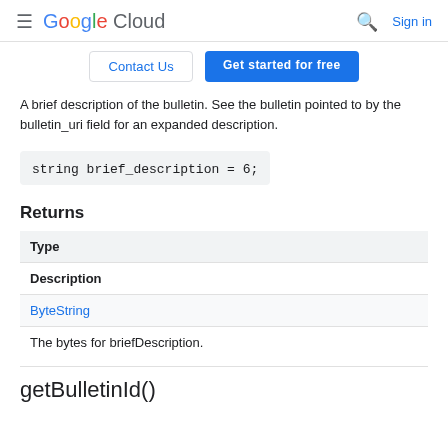≡ Google Cloud  🔍 Sign in
Contact Us  Get started for free
A brief description of the bulletin. See the bulletin pointed to by the bulletin_uri field for an expanded description.
string brief_description = 6;
Returns
| Type |
| --- |
| Description |
| ByteString |
| The bytes for briefDescription. |
getBulletinId()